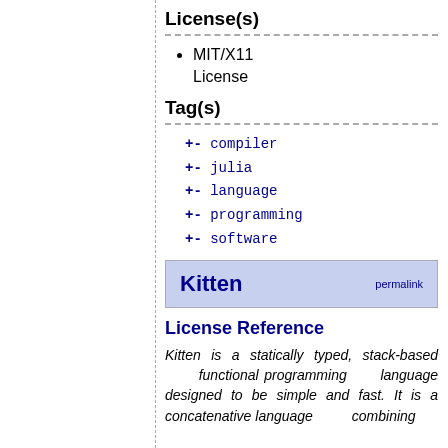License(s)
MIT/X11 License
Tag(s)
+- compiler
+- julia
+- language
+- programming
+- software
Kitten
License Reference
Kitten is a statically typed, stack-based functional programming language designed to be simple and fast. It is a concatenative language combining